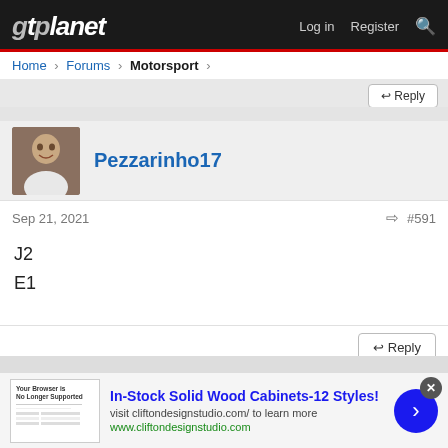gtplanet — Log in  Register
Home > Forums > Motorsport >
Pezzarinho17
Sep 21, 2021   #591
J2
E1
Reply
In-Stock Solid Wood Cabinets-12 Styles!
visit cliftondesignstudio.com/ to learn more
www.cliftondesignstudio.com